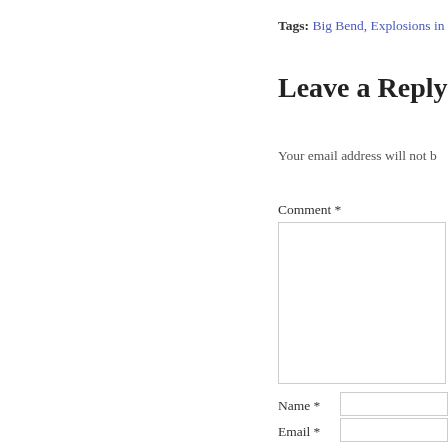Tags: Big Bend, Explosions in
Leave a Reply
Your email address will not b
Comment *
Name *
Email *